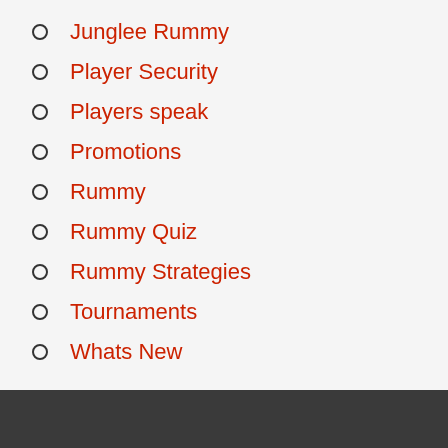Junglee Rummy
Player Security
Players speak
Promotions
Rummy
Rummy Quiz
Rummy Strategies
Tournaments
Whats New
Recommended
Secret Rummy Strategies Shared by Winners
Being a rummy player is one thing and being a...